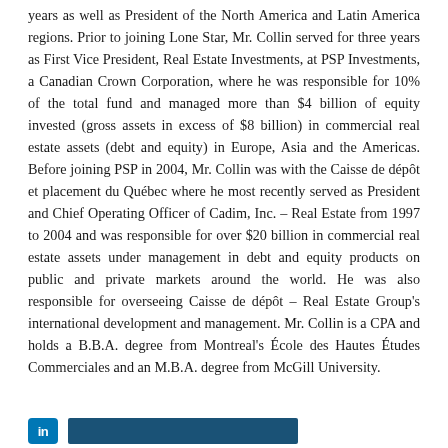years as well as President of the North America and Latin America regions. Prior to joining Lone Star, Mr. Collin served for three years as First Vice President, Real Estate Investments, at PSP Investments, a Canadian Crown Corporation, where he was responsible for 10% of the total fund and managed more than $4 billion of equity invested (gross assets in excess of $8 billion) in commercial real estate assets (debt and equity) in Europe, Asia and the Americas. Before joining PSP in 2004, Mr. Collin was with the Caisse de dépôt et placement du Québec where he most recently served as President and Chief Operating Officer of Cadim, Inc. – Real Estate from 1997 to 2004 and was responsible for over $20 billion in commercial real estate assets under management in debt and equity products on public and private markets around the world. He was also responsible for overseeing Caisse de dépôt – Real Estate Group's international development and management. Mr. Collin is a CPA and holds a B.B.A. degree from Montreal's École des Hautes Études Commerciales and an M.B.A. degree from McGill University.
[Figure (other): LinkedIn icon (blue square with 'in' text) followed by a dark blue rectangular bar]